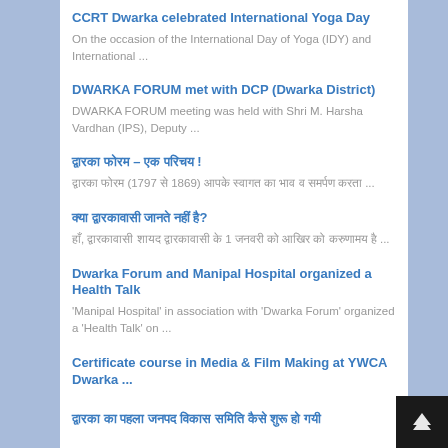CCRT Dwarka celebrated International Yoga Day
On the occasion of the International Day of Yoga (IDY) and International ...
DWARKA FORUM met with DCP (Dwarka District)
DWARKA FORUM meeting was held with Shri M. Harsha Vardhan (IPS), Deputy ...
द्वारका फोरम – एक परिचय !
द्वारका फोरम (1797 से 1869) आपके स्वागत का भाव व समर्पण करता ...
क्या द्वारकावासी जानते नहीं है?
हाँ, द्वारकावासी शायद द्वारकावासी के 1 जनवरी को आखिर को करुणामय है ...
Dwarka Forum and Manipal Hospital organized a Health Talk
'Manipal Hospital' in association with 'Dwarka Forum' organized a 'Health Talk' on ...
Certificate course in Media & Film Making at YWCA Dwarka ...
द्वारका का पहला जनपद विकास समिति कैसे शुरू हो गयी